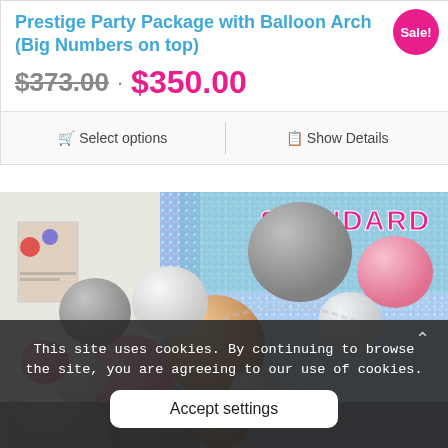Prestige Party Package with Balloon Arch (Big Numbers on top)
$373.00 · $350.00
Select options  Show Details
[Figure (photo): Photo of a balloon arch arrangement with white, gray, pink, rose gold balloons against a colorful holographic/sequin backdrop with 'STANDARD' text visible]
This site uses cookies. By continuing to browse the site, you are agreeing to our use of cookies.
Accept settings